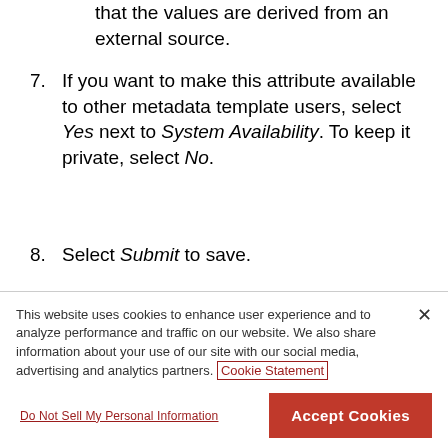that the values are derived from an external source.
7. If you want to make this attribute available to other metadata template users, select Yes next to System Availability. To keep it private, select No.
8. Select Submit to save.
Add an attribute to a metadata template
This website uses cookies to enhance user experience and to analyze performance and traffic on our website. We also share information about your use of our site with our social media, advertising and analytics partners. Cookie Statement
Do Not Sell My Personal Information
Accept Cookies